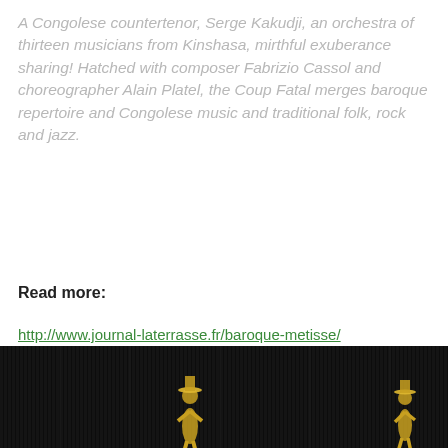A Congolese countertenor, Serge Kakudji, an orchestra of thirteen musicians from Kinshasa, mirthful exuberance sharing! Hatched with composer Fabrizio Cassol and choreographer Alain Platel, the Coup Fatal merges baroque repertoire and Congolese music and traditional folk, rock and jazz.
Read more:
http://www.journal-laterrasse.fr/baroque-metisse/
COUP FATAL
[Figure (photo): Dark stage photo with vertical stripe texture and two gold-costumed performers visible at bottom]